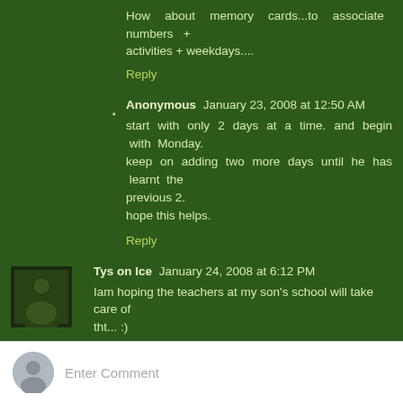How about memory cards...to associate numbers + activities + weekdays....
Reply
Anonymous January 23, 2008 at 12:50 AM
start with only 2 days at a time. and begin with Monday. keep on adding two more days until he has learnt the previous 2.
hope this helps.
Reply
Tys on Ice January 24, 2008 at 6:12 PM
Iam hoping the teachers at my son's school will take care of tht... :)
Reply
Enter Comment